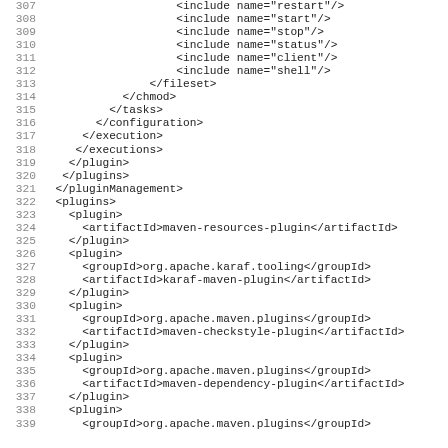Code listing lines 307-339, XML/Maven POM configuration fragment
307   <include name="restart"/>
308   <include name="start"/>
309   <include name="stop"/>
310   <include name="status"/>
311   <include name="client"/>
312   <include name="shell"/>
313   </fileset>
314   </chmod>
315   </tasks>
316   </configuration>
317   </execution>
318   </executions>
319   </plugin>
320   </plugins>
321   </pluginManagement>
322   <plugins>
323   <plugin>
324   <artifactId>maven-resources-plugin</artifactId>
325   </plugin>
326   <plugin>
327   <groupId>org.apache.karaf.tooling</groupId>
328   <artifactId>karaf-maven-plugin</artifactId>
329   </plugin>
330   <plugin>
331   <groupId>org.apache.maven.plugins</groupId>
332   <artifactId>maven-checkstyle-plugin</artifactId>
333   </plugin>
334   <plugin>
335   <groupId>org.apache.maven.plugins</groupId>
336   <artifactId>maven-dependency-plugin</artifactId>
337   </plugin>
338   <plugin>
339   <groupId>org.apache.maven.plugins</groupId>